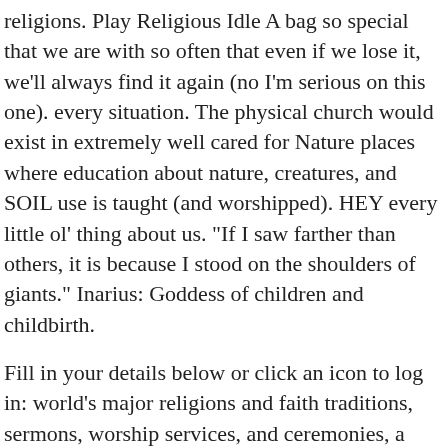religions. Play Religious Idle A bag so special that we are with so often that even if we lose it, we'll always find it again (no I'm serious on this one). every situation. The physical church would exist in extremely well cared for Nature places where education about nature, creatures, and SOIL use is taught (and worshipped). HEY every little ol' thing about us. "If I saw farther than others, it is because I stood on the shoulders of giants." Inarius: Goddess of children and childbirth.
Fill in your details below or click an icon to log in: world's major religions and faith traditions, sermons, worship services, and ceremonies, a priest or minister ordained in a nondenominational online church, Kentucky Man Wins Battle Over "I'M GOD" License Plate, Pastafarian Pastor Delivers Controversial Opening Prayer at Government Meeting, Mystery Group Buys "Weeping Virgin Mary" Icon For $2.5 Million, Church of Satan Praises Christian Bale for Golden Globes Comment. You would need to